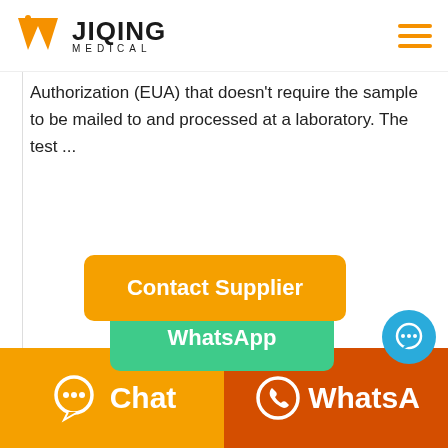W JIQING MEDICAL
Authorization (EUA) that doesn't require the sample to be mailed to and processed at a laboratory. The test ...
[Figure (screenshot): Orange 'Contact Supplier' button]
[Figure (screenshot): Green 'WhatsApp' button]
[Figure (screenshot): Blue chat bubble icon button]
[Figure (screenshot): Bottom bar with orange Chat button and dark-orange WhatsApp button]